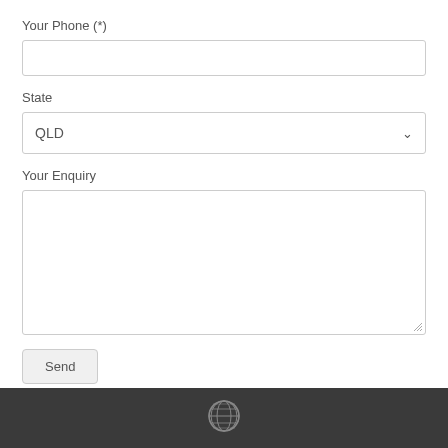Your Phone (*)
State
QLD
Your Enquiry
Send
[Figure (logo): Globe/grid sphere icon in dark footer bar]